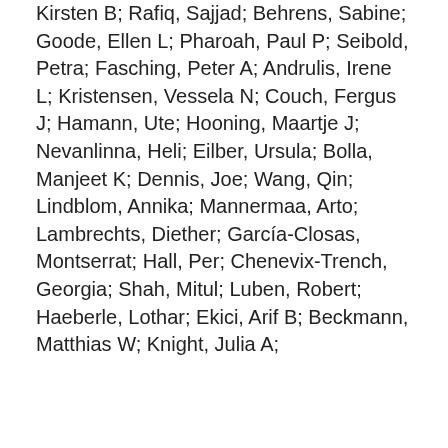Kirsten B; Rafiq, Sajjad; Behrens, Sabine; Goode, Ellen L; Pharoah, Paul P; Seibold, Petra; Fasching, Peter A; Andrulis, Irene L; Kristensen, Vessela N; Couch, Fergus J; Hamann, Ute; Hooning, Maartje J; Nevanlinna, Heli; Eilber, Ursula; Bolla, Manjeet K; Dennis, Joe; Wang, Qin; Lindblom, Annika; Mannermaa, Arto; Lambrechts, Diether; García-Closas, Montserrat; Hall, Per; Chenevix-Trench, Georgia; Shah, Mitul; Luben, Robert; Haeberle, Lothar; Ekici, Arif B; Beckmann, Matthias W; Knight, Julia A;